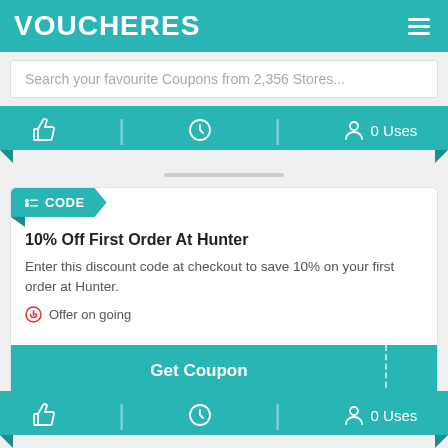VOUCHERES
Search your favourite Coupons from 2,356 Stores...
[Figure (infographic): Teal banner with thumbs up icon, clock icon, and '0 Uses' with person icon, with ribbon fold corners]
[Figure (infographic): Scroll hint bar]
CODE
10% Off First Order At Hunter
Enter this discount code at checkout to save 10% on your first order at Hunter.
Offer on going
Get Coupon
[Figure (infographic): Bottom teal banner with thumbs up icon, clock icon, and '0 Uses' with person icon, with ribbon fold corners]